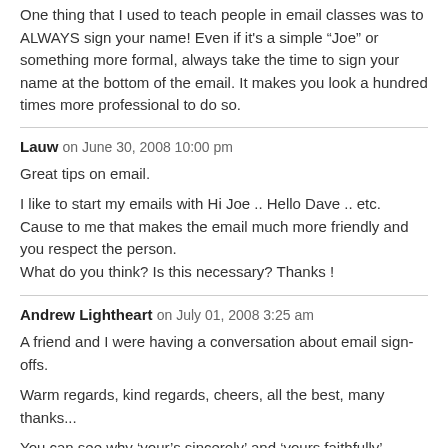One thing that I used to teach people in email classes was to ALWAYS sign your name! Even if it's a simple “Joe” or something more formal, always take the time to sign your name at the bottom of the email. It makes you look a hundred times more professional to do so.
Lauw on June 30, 2008 10:00 pm
Great tips on email.
I like to start my emails with Hi Joe .. Hello Dave .. etc.
Cause to me that makes the email much more friendly and you respect the person.
What do you think? Is this necessary? Thanks !
Andrew Lightheart on July 01, 2008 3:25 am
A friend and I were having a conversation about email sign-offs.
Warm regards, kind regards, cheers, all the best, many thanks...
You can see why ‘your’s sincerely’ and ‘yours faithfully’ worked so well.
I’d be interested to hear your thoughts about this aspect too.